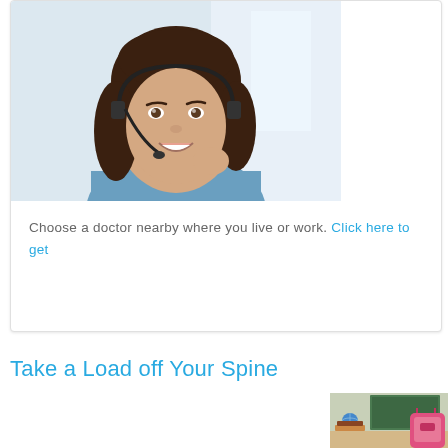[Figure (photo): Smiling woman with headset/microphone, wearing a blue shirt, looking at camera]
Choose a doctor nearby where you live or work. Click here to get
Take a Load off Your Spine
[Figure (photo): Partial view of a classroom with a green chalkboard and a pink backpack on a desk]